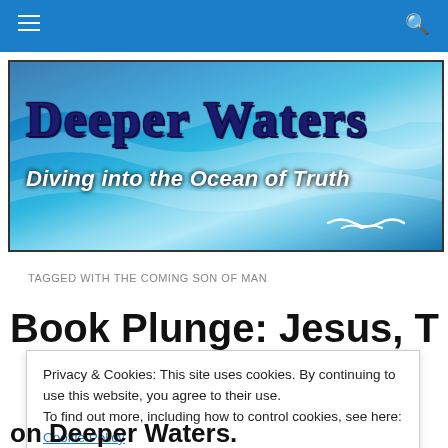Navigation bar with hamburger menu and search icon
[Figure (illustration): Deeper Waters blog banner with water/ocean background. Title reads 'Deeper Waters' and subtitle 'Diving into the Ocean of Truth']
TAGGED WITH THE COMING SON OF MAN
Book Plunge: Jesus, The
Privacy & Cookies: This site uses cookies. By continuing to use this website, you agree to their use.
To find out more, including how to control cookies, see here: Cookie Policy
Close and accept
on Deeper Waters.